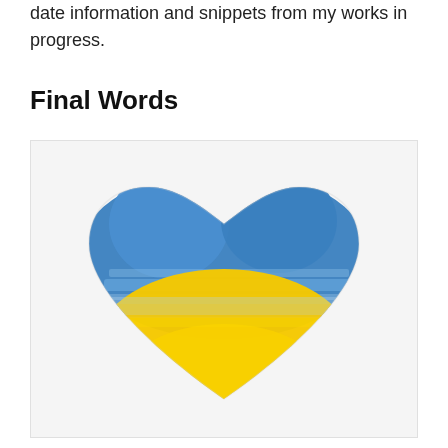date information and snippets from my works in progress.
Final Words
[Figure (illustration): A heart shape filled with the Ukrainian flag colors — blue on top half and yellow on the bottom half — painted in a rough brushstroke style.]